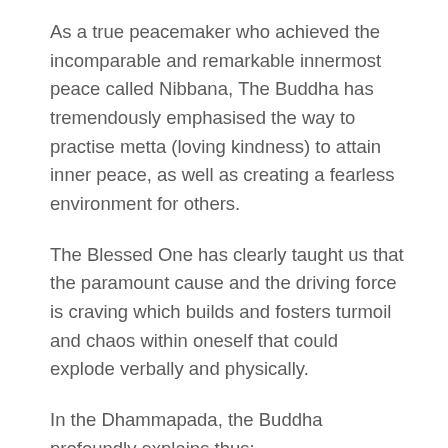As a true peacemaker who achieved the incomparable and remarkable innermost peace called Nibbana, The Buddha has tremendously emphasised the way to practise metta (loving kindness) to attain inner peace, as well as creating a fearless environment for others.
The Blessed One has clearly taught us that the paramount cause and the driving force is craving which builds and fosters turmoil and chaos within oneself that could explode verbally and physically.
In the Dhammapada, the Buddha profoundly explains thus:
“Mind precedes all mental states. Mind is their chief; they are all mind-wrought. If with an impure mind a